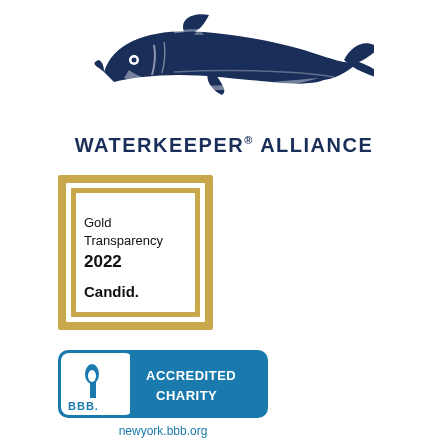[Figure (logo): Waterkeeper Alliance logo — dark navy blue sturgeon fish silhouette with white highlights, facing right]
WATERKEEPER® ALLIANCE
[Figure (logo): Candid Gold Transparency 2022 badge — gold double-border square frame, text reads Gold Transparency 2022, Candid.]
[Figure (logo): BBB Accredited Charity badge — rounded rectangle with white BBB logo on left and teal background reading ACCREDITED CHARITY in white bold text]
newyork.bbb.org